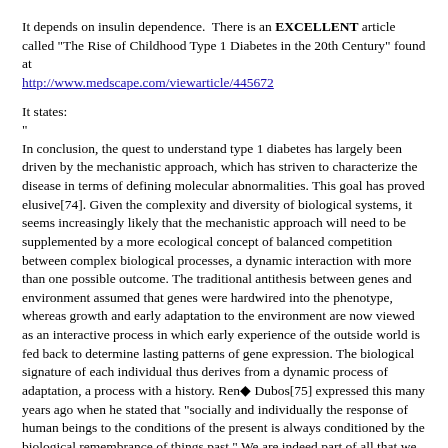It depends on insulin dependence.  There is an EXCELLENT article called "The Rise of Childhood Type 1 Diabetes in the 20th Century" found at http://www.medscape.com/viewarticle/445672
It states:
"
In conclusion, the quest to understand type 1 diabetes has largely been driven by the mechanistic approach, which has striven to characterize the disease in terms of defining molecular abnormalities. This goal has proved elusive[74]. Given the complexity and diversity of biological systems, it seems increasingly likely that the mechanistic approach will need to be supplemented by a more ecological concept of balanced competition between complex biological processes, a dynamic interaction with more than one possible outcome. The traditional antithesis between genes and environment assumed that genes were hardwired into the phenotype, whereas growth and early adaptation to the environment are now viewed as an interactive process in which early experience of the outside world is fed back to determine lasting patterns of gene expression. The biological signature of each individual thus derives from a dynamic process of adaptation, a process with a history. Ren◆ Dubos[75] expressed this many years ago when he stated that "socially and individually the response of human beings to the conditions of the present is always conditioned by the biological remembrance of things past." We are indeed part of all that we have met.
The implications of the changing demography of type 1 diabetes for our understanding of the disease are considerable. From the point of view of the geneticist, it means that patterns of inheritance that confer susceptibility to immune-mediated loss of pancreatic ◆-cells became progressively maladaptive in a late 20th century environment. For the immunologist, it implies that the